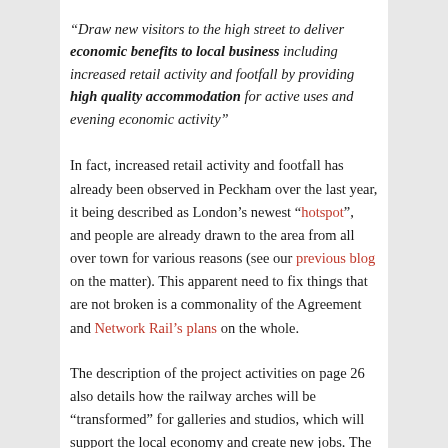“Draw new visitors to the high street to deliver economic benefits to local business including increased retail activity and footfall by providing high quality accommodation for active uses and evening economic activity”
In fact, increased retail activity and footfall has already been observed in Peckham over the last year, it being described as London’s newest “hotspot”, and people are already drawn to the area from all over town for various reasons (see our previous blog on the matter). This apparent need to fix things that are not broken is a commonality of the Agreement and Network Rail’s plans on the whole.
The description of the project activities on page 26 also details how the railway arches will be “transformed” for galleries and studios, which will support the local economy and create new jobs. The fact that all of this money is being spent on spaces that are already occupied in the trades they are trying to attract suggests either